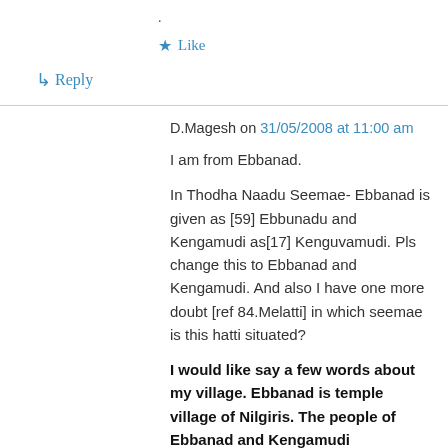.
★ Like
↳ Reply
D.Magesh on 31/05/2008 at 11:00 am
I am from Ebbanad.
In Thodha Naadu Seemae- Ebbanad is given as [59] Ebbunadu and Kengamudi as[17] Kenguvamudi. Pls change this to Ebbanad and Kengamudi. And also I have one more doubt [ref 84.Melatti] in which seemae is this hatti situated?
I would like say a few words about my village. Ebbanad is temple village of Nilgiris. The people of Ebbanad and Kengamudi